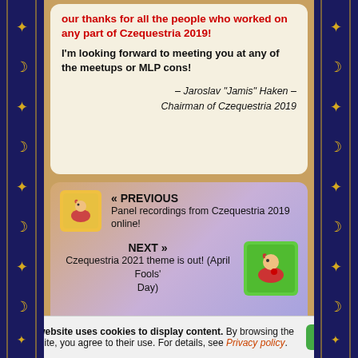our thanks for all the people who worked on any part of Czequestria 2019!
I'm looking forward to meeting you at any of the meetups or MLP cons!
– Jaroslav "Jamis" Haken –
Chairman of Czequestria 2019
« PREVIOUS
Panel recordings from Czequestria 2019 online!
NEXT »
Czequestria 2021 theme is out! (April Fools' Day)
This website uses cookies to display content. By browsing the website, you agree to their use. For details, see Privacy policy.